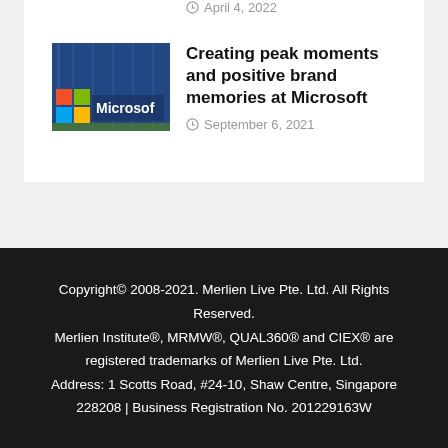April 4, 2022
[Figure (photo): Microsoft building exterior with colorful logo and glass facade]
Creating peak moments and positive brand memories at Microsoft
September 6, 2021
Copyright© 2008-2021. Merlien Live Pte. Ltd. All Rights Reserved.
Merlien Institute®, MRMW®, QUAL360® and CIEX® are registered trademarks of Merlien Live Pte. Ltd.
Address: 1 Scotts Road, #24-10, Shaw Centre, Singapore 228208 | Business Registration No. 201229163W